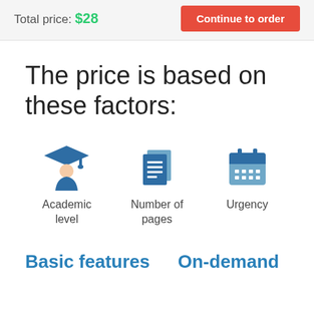Total price: $28
Continue to order
The price is based on these factors:
[Figure (illustration): Three icons: graduation cap/student figure (Academic level), stacked documents (Number of pages), calendar grid (Urgency)]
Academic level
Number of pages
Urgency
Basic features
On-demand